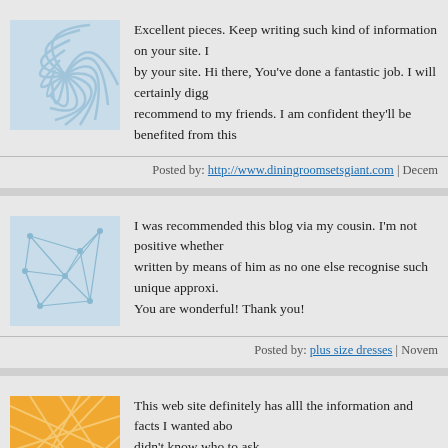[Figure (illustration): Blue swirl/fan pattern avatar image]
Excellent pieces. Keep writing such kind of information on your site. I by your site. Hi there, You've done a fantastic job. I will certainly digg recommend to my friends. I am confident they'll be benefited from this
Posted by: http://www.diningroomsetsgiant.com | Decem
[Figure (illustration): Blue network/web pattern avatar image]
I was recommended this blog via my cousin. I'm not positive whether written by means of him as no one else recognise such unique approxi. You are wonderful! Thank you!
Posted by: plus size dresses | Novem
[Figure (illustration): Orange geometric lines/grid avatar image]
This web site definitely has alll the information and facts I wanted abo didn't know who to ask.
Posted by: samsonite | Novem
[Figure (illustration): Teal/green leaf pattern avatar image]
With havin so much written ccontent do you ever run into any problem